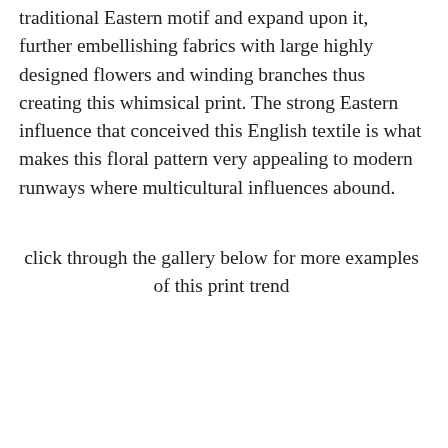traditional Eastern motif and expand upon it, further embellishing fabrics with large highly designed flowers and winding branches thus creating this whimsical print. The strong Eastern influence that conceived this English textile is what makes this floral pattern very appealing to modern runways where multicultural influences abound.
click through the gallery below for more examples of this print trend